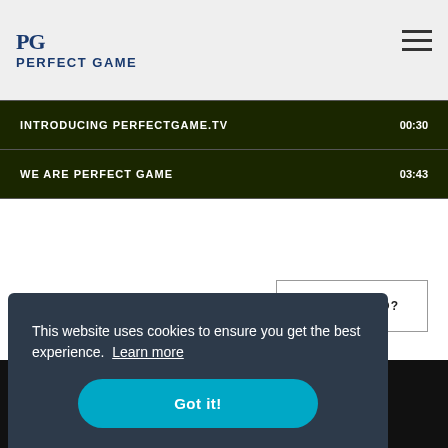PERFECT GAME
INTRODUCING PERFECTGAME.TV  00:30
WE ARE PERFECT GAME  03:43
WANT VIDEO?
[Figure (screenshot): Dark background section with a thumbnail image placeholder showing a blurred sports/baseball image]
This website uses cookies to ensure you get the best experience. Learn more
Got it!